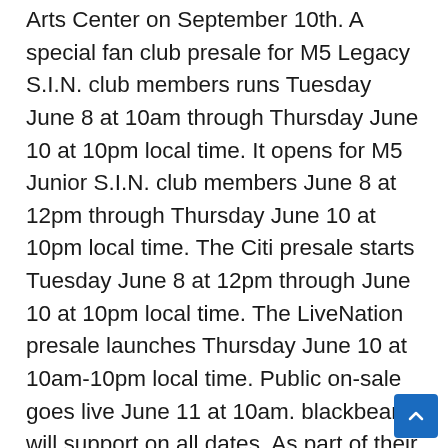Arts Center on September 10th. A special fan club presale for M5 Legacy S.I.N. club members runs Tuesday June 8 at 10am through Thursday June 10 at 10pm local time. It opens for M5 Junior S.I.N. club members June 8 at 12pm through Thursday June 10 at 10pm local time. The Citi presale starts Tuesday June 8 at 12pm through June 10 at 10pm local time. The LiveNation presale launches Thursday June 10 at 10am-10pm local time. Public on-sale goes live June 11 at 10am. blackbear will support on all dates. As part of their upcoming 2021 tour, Maroon 5 is set to be one of the headliners at the Music Midtown Festival in Atlanta this September.